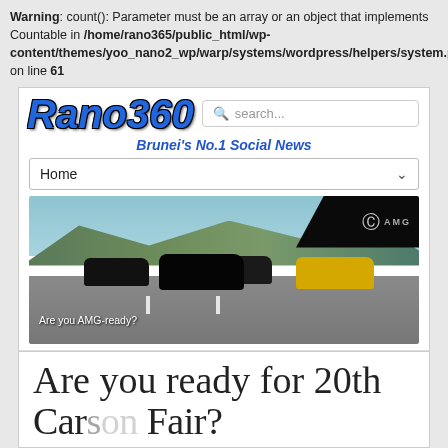Warning: count(): Parameter must be an array or an object that implements Countable in /home/rano365/public_html/wp-content/themes/yoo_nano2_wp/warp/systems/wordpress/helpers/system.php on line 61
[Figure (screenshot): Rano360 website screenshot showing logo, search bar, tagline 'Brunei's No.1 Social News', Home navigation, and Mercedes-AMG advertisement banner with cars on a road]
Are you ready for 20th